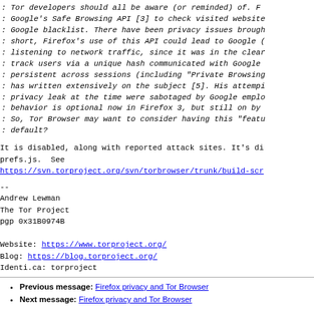: Tor developers should all be aware (or reminded) of. F
: Google's Safe Browsing API [3] to check visited website
: Google blacklist. There have been privacy issues brough
: short, Firefox's use of this API could lead to Google (
: listening to network traffic, since it was in the clear
: track users via a unique hash communicated with Google
: persistent across sessions (including "Private Browsing
: has written extensively on the subject [5]. His attempi
: privacy leak at the time were sabotaged by Google emplo
: behavior is optional now in Firefox 3, but still on by
: So, Tor Browser may want to consider having this "featu
: default?
It is disabled, along with reported attack sites. It's di
prefs.js.  See
https://svn.torproject.org/svn/torbrowser/trunk/build-scr
--
Andrew Lewman
The Tor Project
pgp 0x31B0974B

Website: https://www.torproject.org/
Blog: https://blog.torproject.org/
Identi.ca: torproject
Previous message: Firefox privacy and Tor Browser
Next message: Firefox privacy and Tor Browser